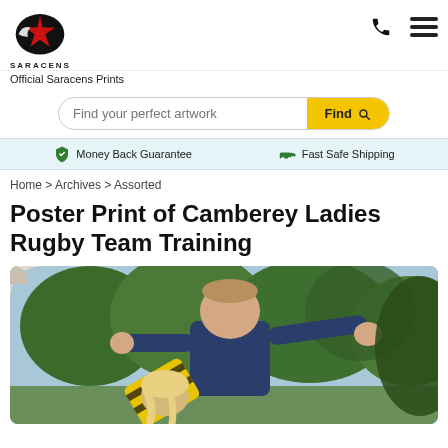[Figure (logo): Saracens rugby club logo — black oval with red star — with text SARACENS below]
Official Saracens Prints
[Figure (infographic): Search bar with placeholder 'Find your perfect artwork' and yellow 'Find' button with magnifier icon]
Money Back Guarantee   Fast Safe Shipping
Home > Archives > Assorted
Poster Print of Camberey Ladies Rugby Team Training
[Figure (photo): A rugby coach in navy blue t-shirt pointing with right arm outstretched, a young player with blonde hair in yellow and black striped shirt bending forward in the foreground, trees in background]